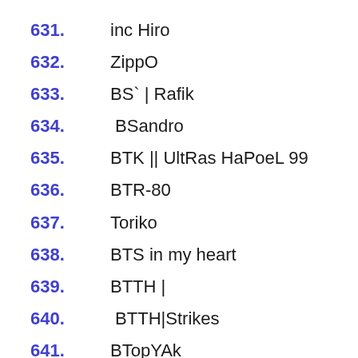631. inc Hiro
632. ZippO
633. BS` | Rafik
634.  BSandro
635. BTK || UltRas HaPoeL 99
636. BTR-80
637. Toriko
638. BTS in my heart
639. BTTH |
640.  BTTH|Strikes
641. BTopYAk
642. BTop[NC]]